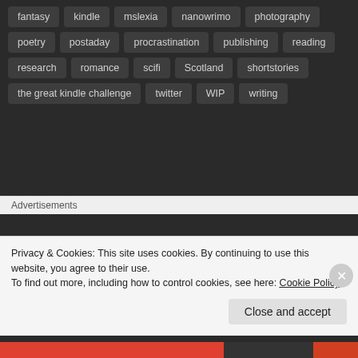fantasy
kindle
mslexia
nanowrimo
photography
poetry
postaday
procrastination
publishing
reading
research
romance
scifi
Scotland
shortstories
the great kindle challenge
twitter
WIP
writing
SUBSCRIBE TO BLOG VIA EMAIL
Enter your email address to subscribe to this blog and receive notifications of new posts by email.
Advertisements
Privacy & Cookies: This site uses cookies. By continuing to use this website, you agree to their use.
To find out more, including how to control cookies, see here: Cookie Policy
Close and accept